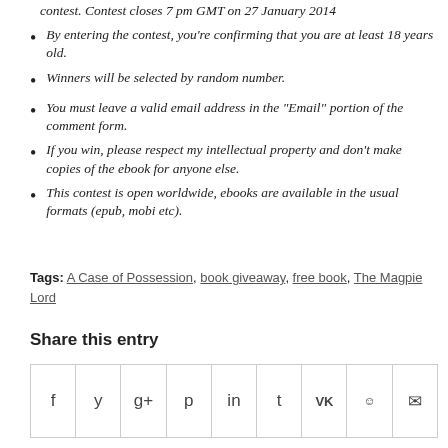contest. Contest closes 7 pm GMT on 27 January 2014
By entering the contest, you're confirming that you are at least 18 years old.
Winners will be selected by random number.
You must leave a valid email address in the "Email" portion of the comment form.
If you win, please respect my intellectual property and don't make copies of the ebook for anyone else.
This contest is open worldwide, ebooks are available in the usual formats (epub, mobi etc).
Tags: A Case of Possession, book giveaway, free book, The Magpie Lord
Share this entry
[Figure (other): Social media share icons row: Facebook, Twitter, Google+, Pinterest, LinkedIn, Tumblr, VK, Reddit, Email]